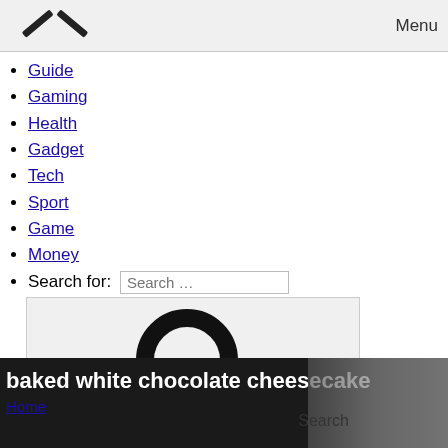[Figure (screenshot): Navigation menu bar with chevron/close icon on left and 'Menu' label on right, gray background]
Guide
Gaming
Health
Gadget
Tech
Sport
Game
Money
Search for: [Search input box]
[Figure (screenshot): Search icon (magnifying glass) on gray background with 'Search' button label]
[Figure (photo): Photo with text overlay 'baked white chocolate cheesecake' and a partial link 'Home' below]